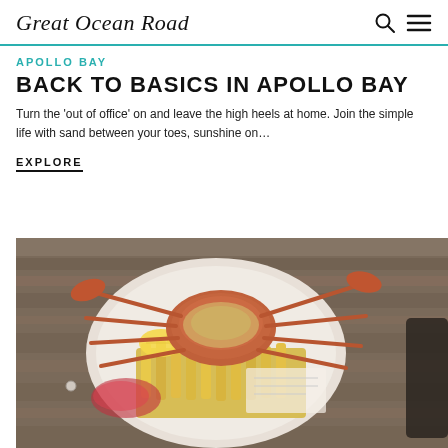Great Ocean Road
APOLLO BAY
BACK TO BASICS IN APOLLO BAY
Turn the 'out of office' on and leave the high heels at home. Join the simple life with sand between your toes, sunshine on…
EXPLORE
[Figure (photo): A crab served on a plate with chips/fries and lemon wedges, photographed on a wooden table surface from above]